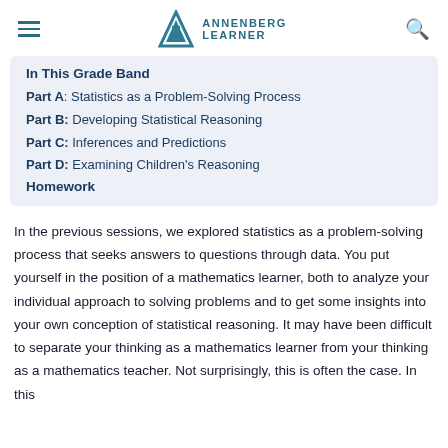Annenberg Learner
In This Grade Band
Part A: Statistics as a Problem-Solving Process
Part B: Developing Statistical Reasoning
Part C: Inferences and Predictions
Part D: Examining Children's Reasoning
Homework
In the previous sessions, we explored statistics as a problem-solving process that seeks answers to questions through data. You put yourself in the position of a mathematics learner, both to analyze your individual approach to solving problems and to get some insights into your own conception of statistical reasoning. It may have been difficult to separate your thinking as a mathematics learner from your thinking as a mathematics teacher. Not surprisingly, this is often the case. In this